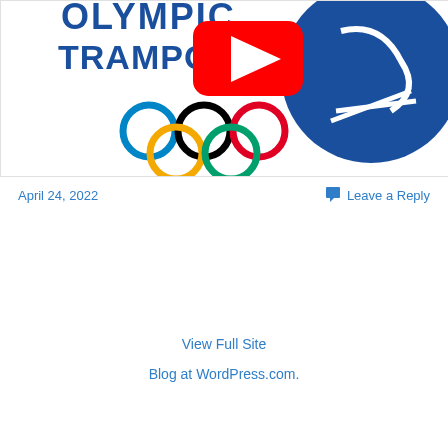[Figure (screenshot): Thumbnail image for 'Olympic Trampoline' video showing the text 'OLYMPIC TRAMPOLINE' in blue, Olympic rings (blue, black, red, yellow, green), a YouTube play button overlay, and a blue circular logo with crossed shapes on the right side.]
April 24, 2022
Leave a Reply
Older posts
View Full Site
Blog at WordPress.com.